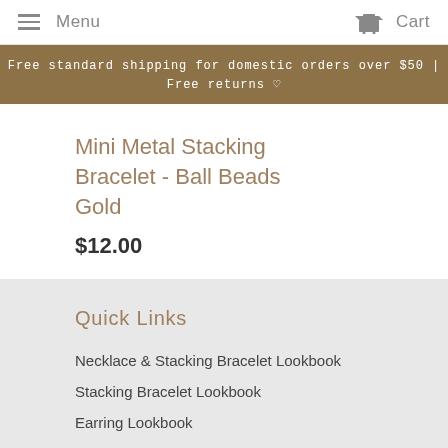Menu  Cart
Free standard shipping for domestic orders over $50 | Free returns ♡
Mini Metal Stacking Bracelet - Ball Beads Gold
$12.00
Quick Links
Necklace & Stacking Bracelet Lookbook
Stacking Bracelet Lookbook
Earring Lookbook
Home Accessory Lookbook
FAQ